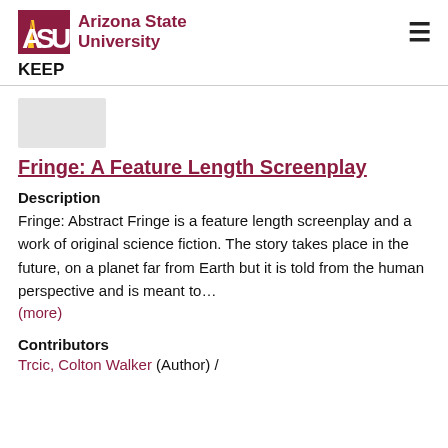[Figure (logo): Arizona State University logo with ASU block letters and sunburst icon, maroon color]
KEEP
[Figure (other): Thumbnail placeholder image, light gray rectangle]
Fringe: A Feature Length Screenplay
Description
Fringe: Abstract Fringe is a feature length screenplay and a work of original science fiction. The story takes place in the future, on a planet far from Earth but it is told from the human perspective and is meant to…
(more)
Contributors
Trcic, Colton Walker (Author)  /